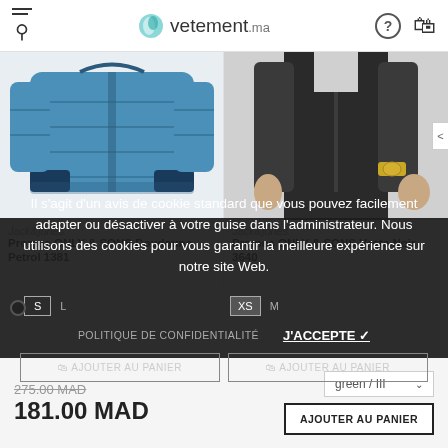vetement.ma
[Figure (photo): Blue quilted puffer jacket product photo]
[Figure (photo): Black vest/jacket with man wearing it, hands in pockets]
Jack&jones
Promos ONLY & SONS Doudoune Petrol 1381
Jack&jones
Promos ONLY & SONS Veste Noir 3640
Il s'agit d'un avis de cookie standard que vous pouvez facilement adapter ou désactiver à votre guise dans l'administrateur. Nous utilisons des cookies pour vous garantir la meilleure expérience sur notre site Web.
POLITIQUE DE CONFIDENTIALITÉ
J'ACCEPTE ✓
S   L
XS   M
AJOUTER AU PANIER
AJOUTER AU PANIER
275.00 MAD
181.00 MAD
green / III
AJOUTER AU PANIER